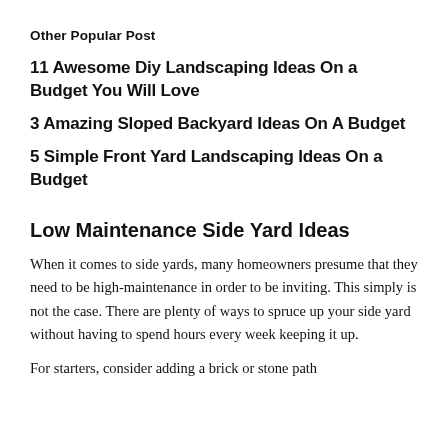Other Popular Post
11 Awesome Diy Landscaping Ideas On a Budget You Will Love
3 Amazing Sloped Backyard Ideas On A Budget
5 Simple Front Yard Landscaping Ideas On a Budget
Low Maintenance Side Yard Ideas
When it comes to side yards, many homeowners presume that they need to be high-maintenance in order to be inviting. This simply is not the case. There are plenty of ways to spruce up your side yard without having to spend hours every week keeping it up.
For starters, consider adding a brick or stone path